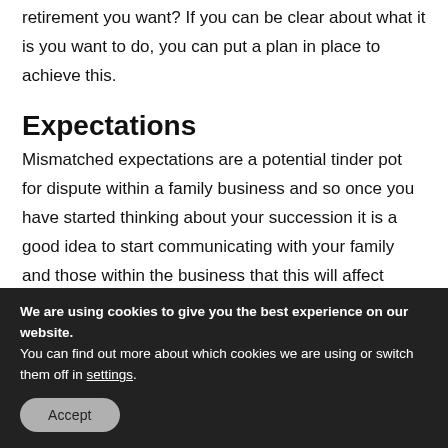retirement you want? If you can be clear about what it is you want to do, you can put a plan in place to achieve this.
Expectations
Mismatched expectations are a potential tinder pot for dispute within a family business and so once you have started thinking about your succession it is a good idea to start communicating with your family and those within the business that this will affect
We are using cookies to give you the best experience on our website.
You can find out more about which cookies we are using or switch them off in settings.